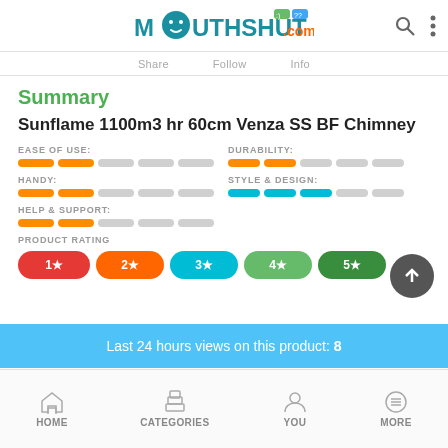MouthShut.com
Share   Follow   Info
Summary
Sunflame 1100m3 hr 60cm Venza SS BF Chimney
EASE OF USE:
DURABILITY:
HANDY:
STYLE & DESIGN:
HELP & SUPPORT:
PRODUCT RATING
Last 24 hours views on this product: 8
HOME   CATEGORIES   YOU   MORE